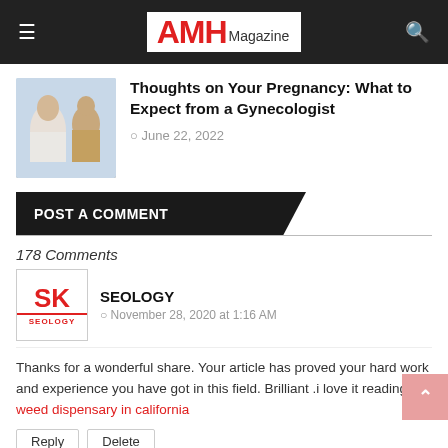AMH Magazine
Thoughts on Your Pregnancy: What to Expect from a Gynecologist
June 22, 2022
POST A COMMENT
178 Comments
SEOLOGY
November 28, 2020 at 1:16 AM
Thanks for a wonderful share. Your article has proved your hard work and experience you have got in this field. Brilliant .i love it reading. weed dispensary in california
Reply   Delete
Replies
Reply
OLIVER